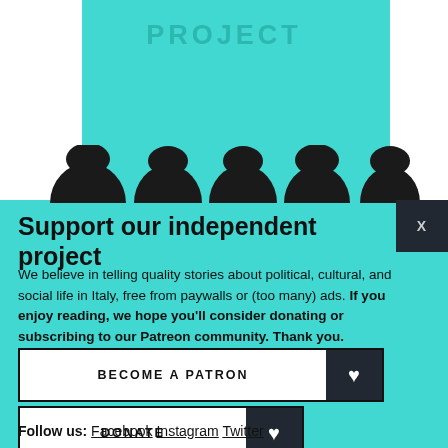PROJECT
[Figure (illustration): Five silhouette head icons in a row, stylized black hair/head profiles]
Support our independent project
We believe in telling quality stories about political, cultural, and social life in Italy, free from paywalls or (too many) ads. If you enjoy reading, we hope you’ll consider donating or subscribing to our Patreon community. Thank you.
BECOME A PATRON ♥
DONATE ♥
Follow us: Facebook Instagram Twitter